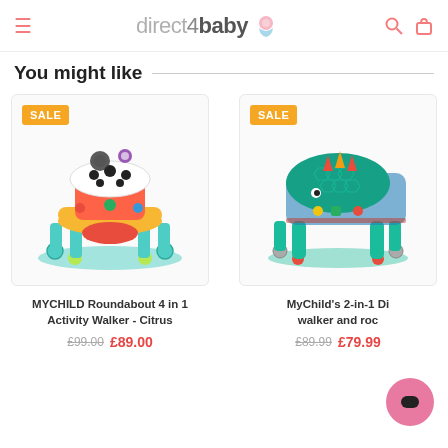direct4baby
You might like
[Figure (photo): Baby activity walker in citrus orange and teal colors with SALE badge]
[Figure (photo): Baby 2-in-1 dinosaur walker and rocker in teal blue with SALE badge]
MYCHILD Roundabout 4 in 1 Activity Walker - Citrus
MyChild's 2-in-1 Dino walker and rocker
£99.00  £89.00
£89.99  £79.99